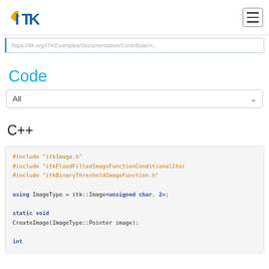ITK logo and navigation hamburger menu
https://itk.org/ITKExamples/Documentation/Contribute/A...
Code
All (dropdown selector)
C++
#include "itkImage.h"
#include "itkFloodFilledImageFunctionConditionalIter
#include "itkBinaryThresholdImageFunction.h"

using ImageType = itk::Image<unsigned char, 2>;

static void
CreateImage(ImageType::Pointer image);

int